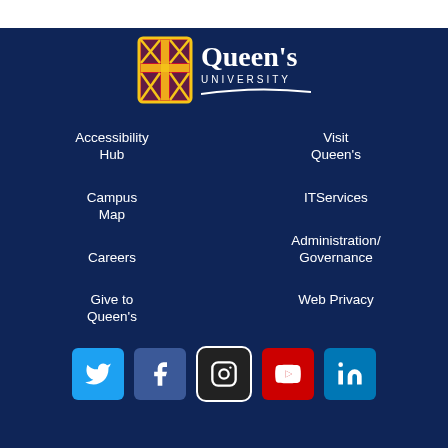[Figure (logo): Queen's University logo with shield and text]
Accessibility Hub
Visit Queen's
Campus Map
ITServices
Careers
Administration/Governance
Give to Queen's
Web Privacy
[Figure (other): Social media icons: Twitter, Facebook, Instagram, YouTube, LinkedIn]